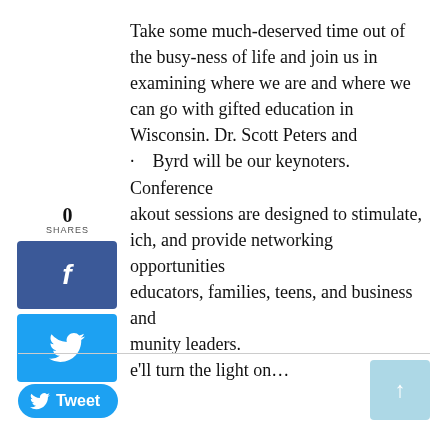Take some much-deserved time out of the busy-ness of life and join us in examining where we are and where we can go with gifted education in Wisconsin. Dr. Scott Peters and · Byrd will be our keynoters. Conference akout sessions are designed to stimulate, ich, and provide networking opportunities educators, families, teens, and business and munity leaders. e'll turn the light on...
[Figure (infographic): Social share widget showing 0 shares, Facebook share button (blue), and Twitter share button (blue bird icon)]
[Figure (infographic): Tweet button with Twitter bird icon and 'Tweet' text, and a light blue up-arrow scroll-to-top button]